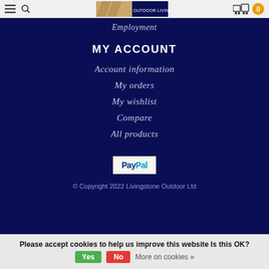Navigation bar with hamburger menu, search icon, Livingstone Outdoor Living Centre logo, cart icon
Employment
MY ACCOUNT
Account information
My orders
My wishlist
Compare
All products
[Figure (logo): PayPal logo button]
© Copyright 2022 Livingstone Outdoor Ltd
Please accept cookies to help us improve this website Is this OK? Yes No More on cookies »